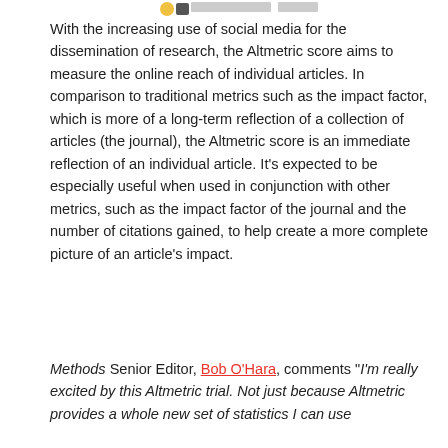[Figure (screenshot): Small header area with social media icons/avatars and text snippet at top of page]
With the increasing use of social media for the dissemination of research, the Altmetric score aims to measure the online reach of individual articles. In comparison to traditional metrics such as the impact factor, which is more of a long-term reflection of a collection of articles (the journal), the Altmetric score is an immediate reflection of an individual article. It’s expected to be especially useful when used in conjunction with other metrics, such as the impact factor of the journal and the number of citations gained, to help create a more complete picture of an article’s impact.
Methods Senior Editor, Bob O’Hara, comments “I’m really excited by this Altmetric trial. Not just because Altmetric provides a whole new set of statistics I can use…